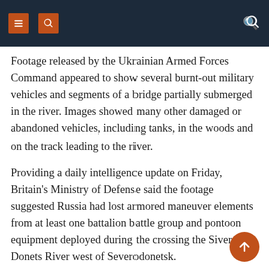Navigation bar with menu icons and search
Footage released by the Ukrainian Armed Forces Command appeared to show several burnt-out military vehicles and segments of a bridge partially submerged in the river. Images showed many other damaged or abandoned vehicles, including tanks, in the woods and on the track leading to the river.
Providing a daily intelligence update on Friday, Britain's Ministry of Defense said the footage suggested Russia had lost armored maneuver elements from at least one battalion battle group and pontoon equipment deployed during the crossing the Siverskyi Donets River west of Severodonetsk.
Reuters could not immediately verify the report, or when or where the clash took place.
The British Ministry of Defense said Russian crossing attempts...